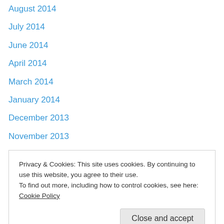August 2014
July 2014
June 2014
April 2014
March 2014
January 2014
December 2013
November 2013
October 2013
August 2013
June 2013
February 2013
January 2013
Privacy & Cookies: This site uses cookies. By continuing to use this website, you agree to their use. To find out more, including how to control cookies, see here: Cookie Policy
January 2012